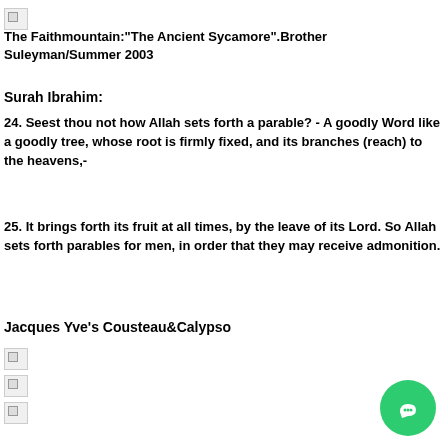[Figure (other): Small broken image icon]
The Faithmountain:"The Ancient Sycamore".Brother Suleyman/Summer 2003
Surah Ibrahim:
24. Seest thou not how Allah sets forth a parable? - A goodly Word like a goodly tree, whose root is firmly fixed, and its branches (reach) to the heavens,-
25. It brings forth its fruit at all times, by the leave of its Lord. So Allah sets forth parables for men, in order that they may receive admonition.
Jacques Yve's Cousteau&Calypso
[Figure (other): Small broken image icon]
[Figure (other): Small broken image icon]
[Figure (other): Small broken image icon]
[Figure (other): Chat button icon]